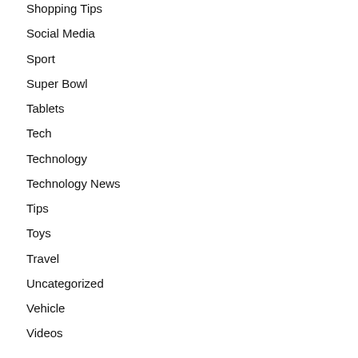Shopping Tips
Social Media
Sport
Super Bowl
Tablets
Tech
Technology
Technology News
Tips
Toys
Travel
Uncategorized
Vehicle
Videos